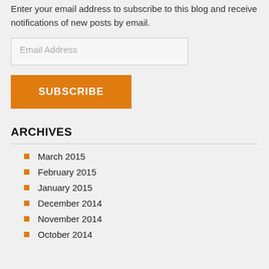Enter your email address to subscribe to this blog and receive notifications of new posts by email.
ARCHIVES
March 2015
February 2015
January 2015
December 2014
November 2014
October 2014